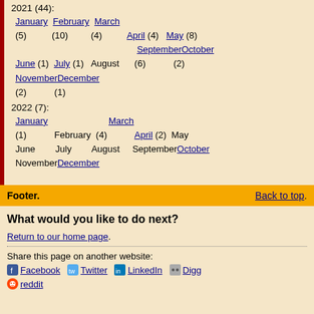2021 (44):
  January (5)  February (10)  March (4)  April (4)  May (8)
  September (6)  October (2)
  June (1)  July (1)  August
  November (2)  December (1)
2022 (7):
  January (1)  February  March (4)  April (2)  May
  June  July  August  September  October
  November  December
Footer.   Back to top.
What would you like to do next?
Return to our home page.
Share this page on another website:
Facebook   Twitter   LinkedIn   Digg
reddit